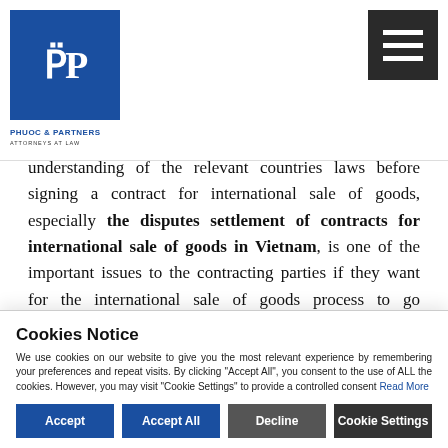Phuoc & Partners Attorneys of Law logo and navigation
understanding of the relevant countries laws before signing a contract for international sale of goods, especially the disputes settlement of contracts for international sale of goods in Vietnam, is one of the important issues to the contracting parties if they want for the international sale of goods process to go smoothly.
Cookies Notice — We use cookies on our website to give you the most relevant experience by remembering your preferences and repeat visits. By clicking "Accept All", you consent to the use of ALL the cookies. However, you may visit "Cookie Settings" to provide a controlled consent. Read More. Buttons: Accept, Accept All, Decline, Cookie Settings.